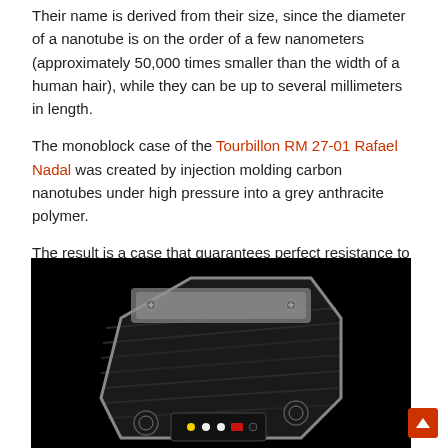Their name is derived from their size, since the diameter of a nanotube is on the order of a few nanometers (approximately 50,000 times smaller than the width of a human hair), while they can be up to several millimeters in length.
The monoblock case of the Tourbillon RM 27-01 Rafael Nadal was created by injection molding carbon nanotubes under high pressure into a grey anthracite polymer.
The result is a case that guarantees perfect resistance to shocks and scratches as well as absolute comfort thanks to the incredible lightness.
[Figure (photo): Dark product photograph of the Tourbillon RM 27-01 Rafael Nadal watch case, showing a black carbon nanotube composite monoblock case with metallic accents and small dial details, photographed against a black background.]